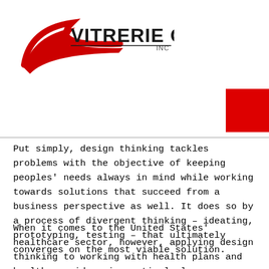[Figure (logo): Vitrerie Côté Inc. logo with red swoosh and black text]
Put simply, design thinking tackles problems with the objective of keeping peoples' needs always in mind while working towards solutions that succeed from a business perspective as well. It does so by a process of divergent thinking – ideating, prototyping, testing – that ultimately converges on the most viable solution.
When it comes to the United States' healthcare sector, however, applying design thinking to working with health plans and health providers is particularly challenging. Here's why: